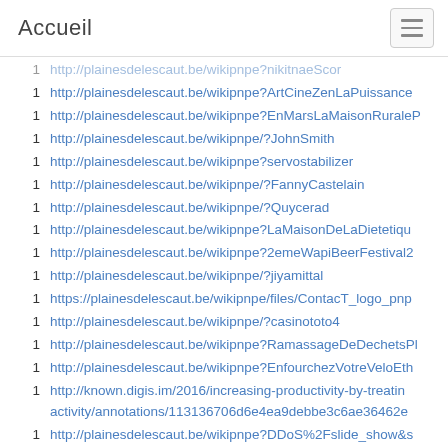Accueil
1  http://plainesdelescaut.be/wikipnpe?nikitnaeScor
1  http://plainesdelescaut.be/wikipnpe?ArtCineZenLaPuissance
1  http://plainesdelescaut.be/wikipnpe?EnMarsLaMaisonRuraleP
1  http://plainesdelescaut.be/wikipnpe/?JohnSmith
1  http://plainesdelescaut.be/wikipnpe?servostabilizer
1  http://plainesdelescaut.be/wikipnpe/?FannyCastelain
1  http://plainesdelescaut.be/wikipnpe/?Quycerad
1  http://plainesdelescaut.be/wikipnpe?LaMaisonDeLaDietetiqu
1  http://plainesdelescaut.be/wikipnpe?2emeWapiBeerFestival2
1  http://plainesdelescaut.be/wikipnpe/?jiyamittal
1  https://plainesdelescaut.be/wikipnpe/files/ContacT_logo_pnp
1  http://plainesdelescaut.be/wikipnpe/?casinototo4
1  http://plainesdelescaut.be/wikipnpe?RamassageDeDechetsPl
1  http://plainesdelescaut.be/wikipnpe?EnfourchezVotreVeloEth
1  http://known.digis.im/2016/increasing-productivity-by-treatin activity/annotations/113136706d6e4ea9debbe3c6ae36462e
1  http://plainesdelescaut.be/wikipnpe?DDoS%2Fslide_show&s
1  http://plainesdelescaut.be/wikipnpe/?ThierryDesmet
1  http://plainesdelescaut.be/wikipnpe/?LogDesActionsAdminis
1  http://plainesdelescaut.be/wikipnpe?CercleDePleineluneEnP
1  http://plainesdelescaut.be/wikipnpe?CercleDePleineluneEnP